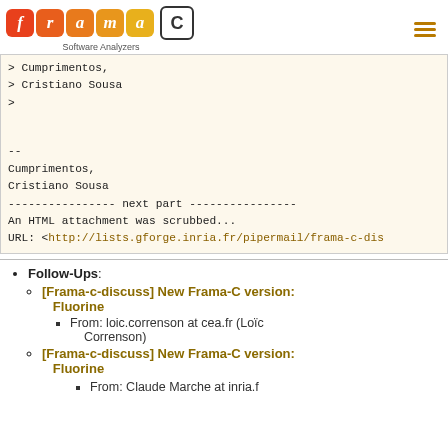Frama-C Software Analyzers
> Cumprimentos,
> Cristiano Sousa
>

--
Cumprimentos,
Cristiano Sousa
---------------- next part ----------------
An HTML attachment was scrubbed...
URL: <http://lists.gforge.inria.fr/pipermail/frama-c-dis
Follow-Ups: [Frama-c-discuss] New Frama-C version: Fluorine — From: loic.correnson at cea.fr (Loïc Correnson)
[Frama-c-discuss] New Frama-C version: Fluorine — From: Claude Marche at inria.fr